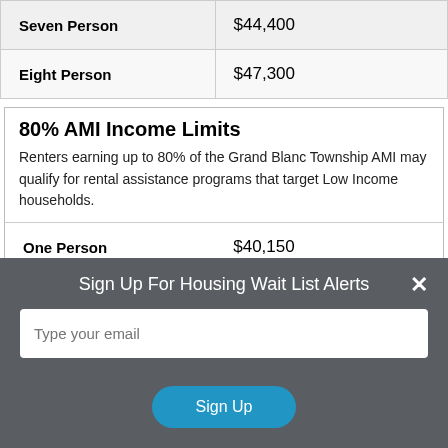| Household Size | Income Limit |
| --- | --- |
| Seven Person | $44,400 |
| Eight Person | $47,300 |
80% AMI Income Limits
Renters earning up to 80% of the Grand Blanc Township AMI may qualify for rental assistance programs that target Low Income households.
| Household Size | Income Limit |
| --- | --- |
| One Person | $40,150 |
| Two Person | $45,850 |
Sign Up For Housing Wait List Alerts